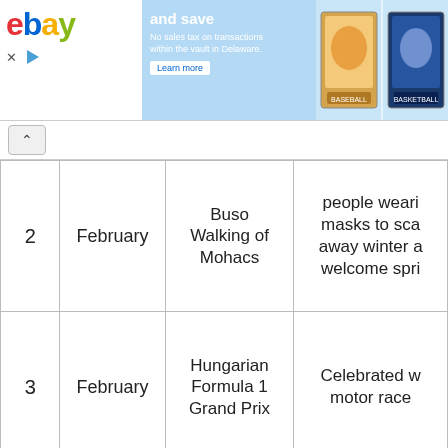[Figure (screenshot): eBay advertisement banner with blue background showing 'and save' text, 'No sales tax on transactions within the vault in Delaware. Learn more' and two trading card images on the right.]
| # | Month | Event | Description |
| --- | --- | --- | --- |
| 2 | February | Buso Walking of Mohacs | people wearing masks to sca away winter a welcome spri |
| 3 | February | Hungarian Formula 1 Grand Prix | Celebrated w motor race |
| 4 | March | Budapest Spring Music Festival | Celebrated w classical, jaz rock, and fo performance |
|  |  | Easter | Celebrated w folk ... |